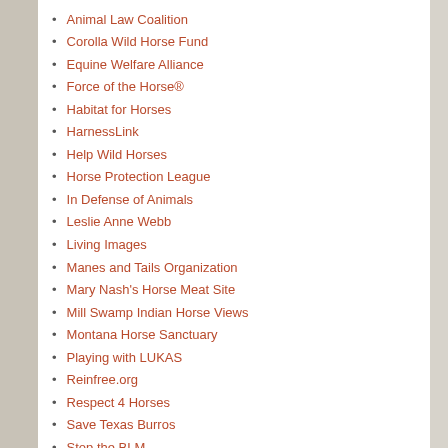Animal Law Coalition
Corolla Wild Horse Fund
Equine Welfare Alliance
Force of the Horse®
Habitat for Horses
HarnessLink
Help Wild Horses
Horse Protection League
In Defense of Animals
Leslie Anne Webb
Living Images
Manes and Tails Organization
Mary Nash's Horse Meat Site
Mill Swamp Indian Horse Views
Montana Horse Sanctuary
Playing with LUKAS
Reinfree.org
Respect 4 Horses
Save Texas Burros
Stop the BLM
Stop the Stampedes
Texas Humane Legislation Network